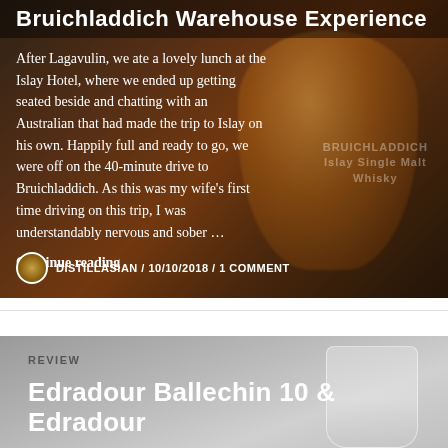[Figure (photo): Photo of a whisky glass with amber liquid, Bruichladdich branding visible, dark background with overlay text]
Bruichladdich Warehouse Experience
After Lagavulin, we ate a lovely lunch at the Islay Hotel, where we ended up getting seated beside and chatting with an Australian that had made the trip to Islay on his own. Happily full and ready to go, we were off on the 40-minute drive to Bruichladdich. As this was my wife's first time driving on this trip, I was understandably nervous and sober …
Continue reading
DISTILLASIAN / 10/10/2018 / 1 COMMENT
REVIEW
Edradour Ballechin 10 & Edradour